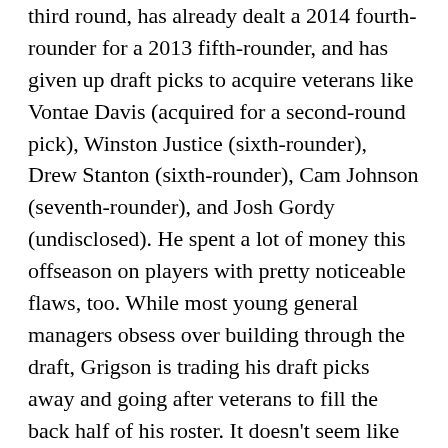third round, has already dealt a 2014 fourth-rounder for a 2013 fifth-rounder, and has given up draft picks to acquire veterans like Vontae Davis (acquired for a second-round pick), Winston Justice (sixth-rounder), Drew Stanton (sixth-rounder), Cam Johnson (seventh-rounder), and Josh Gordy (undisclosed). He spent a lot of money this offseason on players with pretty noticeable flaws, too. While most young general managers obsess over building through the draft, Grigson is trading his draft picks away and going after veterans to fill the back half of his roster. It doesn't seem like the best organizational philosophy, but having won General Manager of the Year in 2012, Grigson also probably deserves the time to let these moves play out before they're judged.
So, if it's such an obvious move for the Colts to make, why would the Browns make this deal?